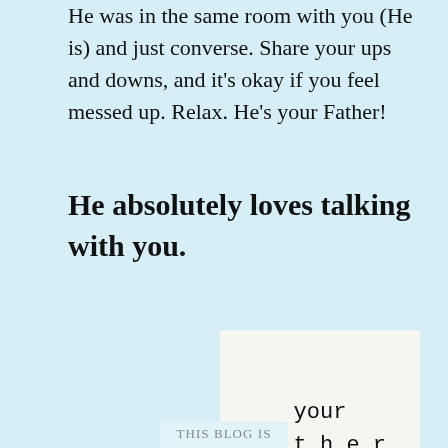He was in the same room with you (He is) and just converse. Share your ups and downs, and it's okay if you feel messed up. Relax. He's your Father!
He absolutely loves talking with you.
[Figure (illustration): White box with handwritten-style typewriter text reading 'your brother, Bryan']
This Blog Is